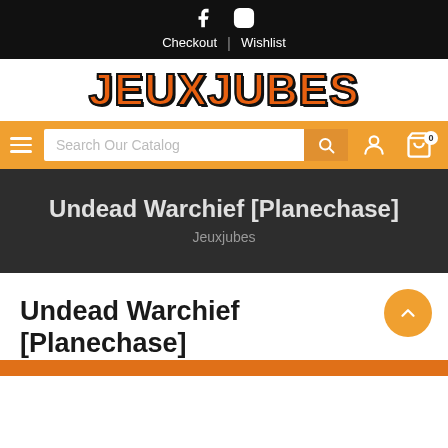Facebook Instagram | Checkout | Wishlist
[Figure (logo): JEUXJUBES logo in orange/red bold font with dark outline]
[Figure (screenshot): Search bar with 'Search Our Catalog' placeholder, hamburger menu, user icon, cart icon with badge 0]
Undead Warchief [Planechase]
Jeuxjubes
Undead Warchief [Planechase]